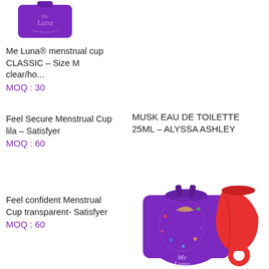[Figure (photo): Purple drawstring pouch with cursive Luna logo, partially visible at top]
Me Luna® menstrual cup CLASSIC – Size M clear/ho...
MOQ : 30
Feel Secure Menstrual Cup lila – Satisfyer
MOQ : 60
MUSK EAU DE TOILETTE 25ML – ALYSSA ASHLEY
[Figure (photo): Purple decorative drawstring bag with floral moon design and red silicone menstrual cup with ring stem, Me Luna branding]
Feel confident Menstrual Cup transparent- Satisfyer
MOQ : 60